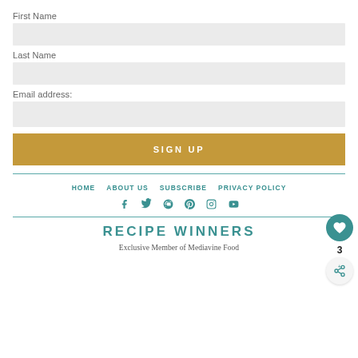First Name
Last Name
Email address:
SIGN UP
HOME   ABOUT US   SUBSCRIBE   PRIVACY POLICY
[Figure (infographic): Social media icons: Facebook, Twitter, Pinterest, Instagram, YouTube in teal color]
RECIPE WINNERS
Exclusive Member of Mediavine Food